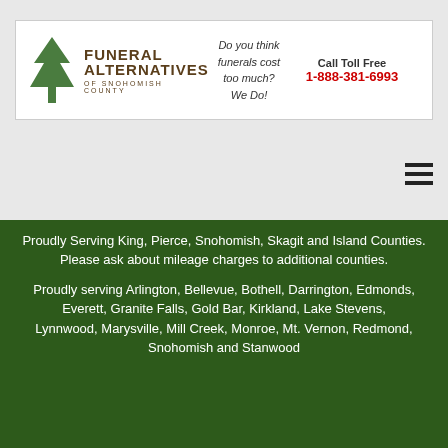[Figure (logo): Funeral Alternatives of Snohomish County logo with tree icon, tagline 'Do you think funerals cost too much? We Do!' and Call Toll Free 1-888-381-6993]
Proudly Serving King, Pierce, Snohomish, Skagit and Island Counties. Please ask about mileage charges to additional counties.
Proudly serving Arlington, Bellevue, Bothell, Darrington, Edmonds, Everett, Granite Falls, Gold Bar, Kirkland, Lake Stevens, Lynnwood, Marysville, Mill Creek, Monroe, Mt. Vernon, Redmond, Snohomish and Stanwood